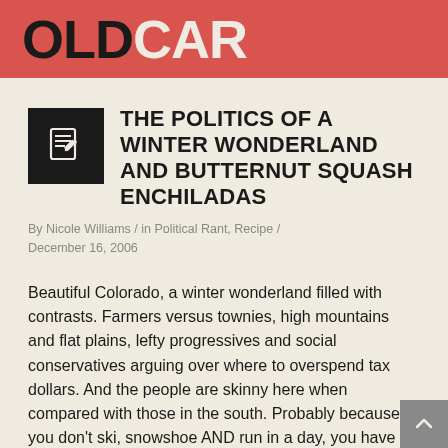OLDCAR
THE POLITICS OF A WINTER WONDERLAND AND BUTTERNUT SQUASH ENCHILADAS
By Nicole Williams / in Political Rant, Recipe / December 16, 2006
Beautiful Colorado, a winter wonderland filled with contrasts. Farmers versus townies, high mountains and flat plains, lefty progressives and social conservatives arguing over where to overspend tax dollars. And the people are skinny here when compared with those in the south. Probably because if you don't ski, snowshoe AND run in a day, you have failed.